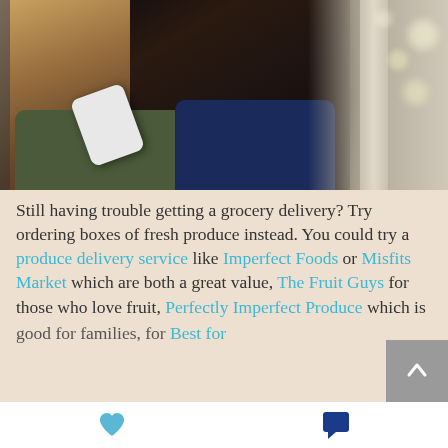[Figure (photo): Two people (a man and a woman) smiling and looking at a smartphone together in what appears to be a store or market setting]
Still having trouble getting a grocery delivery? Try ordering boxes of fresh produce instead. You could try a produce delivery service like Imperfect Foods or Misfits Market which are both a great value, The Fruit Guys for those who love fruit, Perfectly Imperfect Produce which is good for families, for Best for...